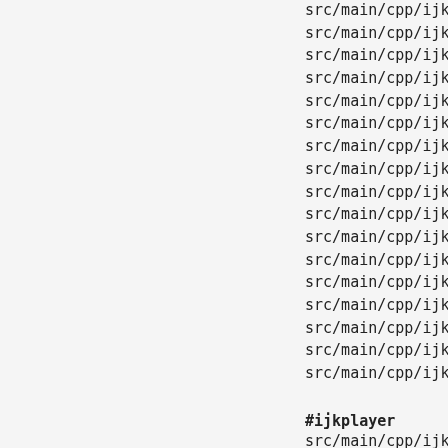src/main/cpp/ijkmedia/ijkyuv/source/conve
src/main/cpp/ijkmedia/ijkyuv/source/cpu_i
src/main/cpp/ijkmedia/ijkyuv/source/forma
src/main/cpp/ijkmedia/ijkyuv/source/plana
src/main/cpp/ijkmedia/ijkyuv/source/rotat
src/main/cpp/ijkmedia/ijkyuv/source/rotat
src/main/cpp/ijkmedia/ijkyuv/source/rotat
src/main/cpp/ijkmedia/ijkyuv/source/row_a
src/main/cpp/ijkmedia/ijkyuv/source/row_c
src/main/cpp/ijkmedia/ijkyuv/source/row_m
src/main/cpp/ijkmedia/ijkyuv/source/row_p
src/main/cpp/ijkmedia/ijkyuv/source/scale
src/main/cpp/ijkmedia/ijkyuv/source/scale
src/main/cpp/ijkmedia/ijkyuv/source/scale
src/main/cpp/ijkmedia/ijkyuv/source/scale
src/main/cpp/ijkmedia/ijkyuv/source/scale
src/main/cpp/ijkmedia/ijkyuv/source/video
#ijkplayer
src/main/cpp/ijkmedia/ijkplayer/ff_cmduti
src/main/cpp/ijkmedia/ijkplayer/ff_ffplay